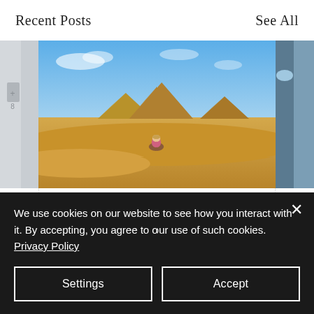Recent Posts
See All
[Figure (photo): Three partially visible blog post thumbnail images arranged horizontally: left partial image (grey/white), center image of a person sitting in front of the Egyptian pyramids under a blue sky, right partial image with blue sky and arch.]
One More Reason I Love Living in Egypt
We use cookies on our website to see how you interact with it. By accepting, you agree to our use of such cookies. Privacy Policy
Settings
Accept